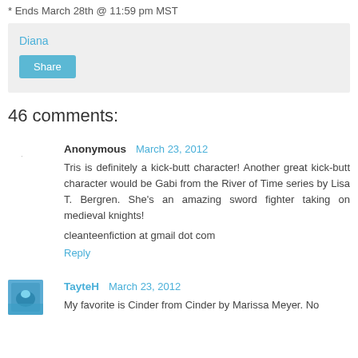* Ends March 28th @ 11:59 pm MST
Diana
Share
46 comments:
Anonymous  March 23, 2012
Tris is definitely a kick-butt character! Another great kick-butt character would be Gabi from the River of Time series by Lisa T. Bergren. She's an amazing sword fighter taking on medieval knights!
cleanteenfiction at gmail dot com
Reply
TayteH  March 23, 2012
My favorite is Cinder from Cinder by Marissa Meyer. No